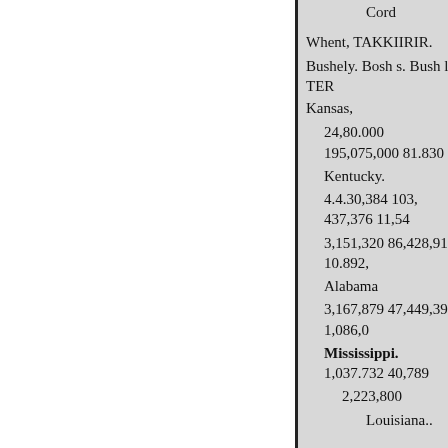Cord
Whent, TAKKIIRIR.
Bushely. Bosh s. Bush ls TER Kansas,
24,80.000 195,075,000 81.830
Kentucky.
4.4.30,384 103, 437,376 11,54
3,151,320 86,428,912 10.892,
Alabama
3,167,879 47,449,392 1,086,0
Mississippi. 1,037.732 40,789
2,223,800
Louisiana..
20.217.633 New York... 40,23
31.821,512 166,804 782 14,13
1.603,519 10.0%),249 9.03.3.
5.000...9 24.073,14 Oklahoma. 1